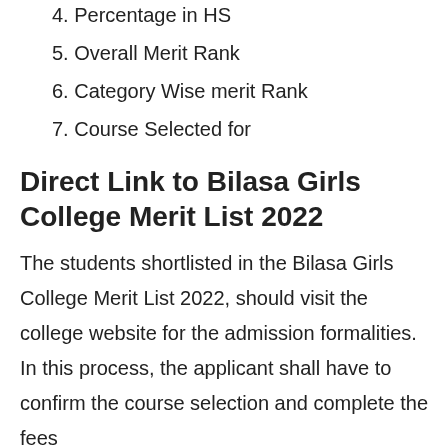4. Percentage in HS
5. Overall Merit Rank
6. Category Wise merit Rank
7. Course Selected for
Direct Link to Bilasa Girls College Merit List 2022
The students shortlisted in the Bilasa Girls College Merit List 2022, should visit the college website for the admission formalities. In this process, the applicant shall have to confirm the course selection and complete the fees